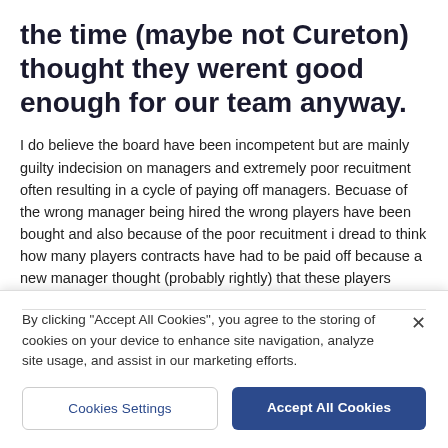the time (maybe not Cureton) thought they werent good enough for our team anyway.
I do believe the board have been incompetent but are mainly guilty indecision on managers and extremely poor recuitment often resulting in a cycle of paying off managers. Becuase of the wrong manager being hired the wrong players have been bought and also because of the poor recuitment i dread to think how many players contracts have had to be paid off because a new manager thought (probably rightly) that these players werent up to the job.
By clicking "Accept All Cookies", you agree to the storing of cookies on your device to enhance site navigation, analyze site usage, and assist in our marketing efforts.